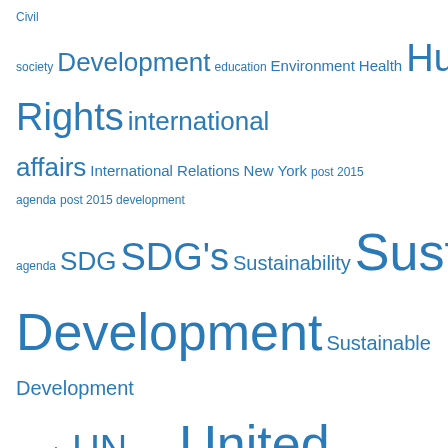Tag cloud: Civil society, Development, education, Environment, Health, Human Rights, international affairs, International Relations, New York, post 2015 agenda, post 2015 development agenda, SDG, SDG's, Sustainability, Sustainable Development, Sustainable Development Goals, UN, UNHQ, United Nations, Women
Recent Posts
Striving for a Safe and Secure Internet: Recent recommendations to protect the digital environment
A Rising Reign without Regulations: Responsible use of humanitarian data
Ministerial Session of the 2021 UN Food Systems Pre-Summit